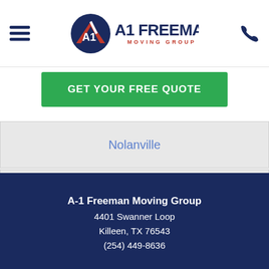[Figure (logo): A-1 Freeman Moving Group logo with circular AF emblem and company name]
GET YOUR FREE QUOTE
Nolanville
Salado
Temple
A-1 Freeman Moving Group
4401 Swanner Loop
Killeen, TX 76543
(254) 449-8636